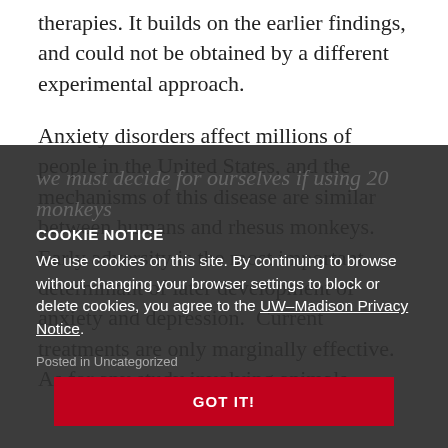therapies. It builds on the earlier findings, and could not be obtained by a different experimental approach.
Anxiety disorders affect millions of people in the United States, and the mechanisms of this disease are similar between humans and rhesus monkeys. Early adversity is the most important determinant of later development of anxiety and depression. Current treatments are only marginally effective. As for any study involving animals, we must decide for ourselves if using 20 monkeys...
COOKIE NOTICE
We use cookies on this site. By continuing to browse without changing your browser settings to block or delete cookies, you agree to the UW–Madison Privacy Notice.
Posted in Uncategorized
GOT IT!